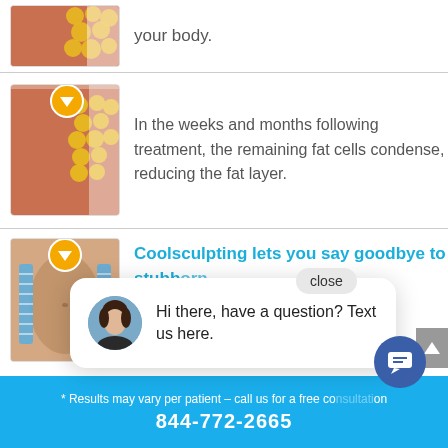[Figure (illustration): Medical illustration showing fat cells under skin, partial view at top]
your body.
[Figure (illustration): Medical illustration showing fat cells condensing under skin with downward arrow icon]
In the weeks and months following treatment, the remaining fat cells condense, reducing the fat layer.
[Figure (illustration): Photo of abdomen with blue measuring tape markers and downward arrow icon, showing CoolSculpting treatment area]
Coolsculpting lets you say goodbye to stubborn fat without surgery.
[Figure (photo): Woman in black top, CoolSculpting treatment photo]
Hi there, have a question? Text us here.
* Results may vary per patient – call us for a free consultation
844-772-2665